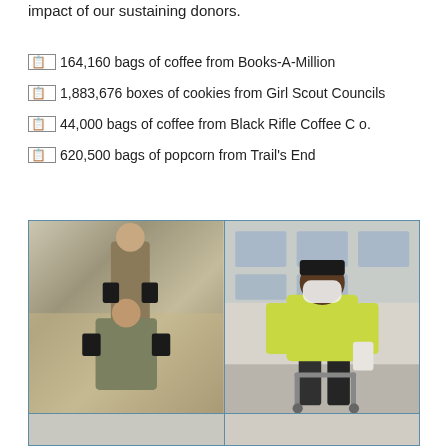impact of our sustaining donors.
164,160 bags of coffee from Books-A-Million
1,883,676 boxes of cookies from Girl Scout Councils
44,000 bags of coffee from Black Rifle Coffee Co.
620,500 bags of popcorn from Trail's End
[Figure (photo): Two soldiers in camouflage uniforms holding black bags of coffee, posing in front of a shiny metallic backdrop. Left photo of a pair of service members.]
[Figure (photo): A man in a yellow t-shirt wearing a white face mask, standing outside a building entrance and holding items, with a walker in front of him.]